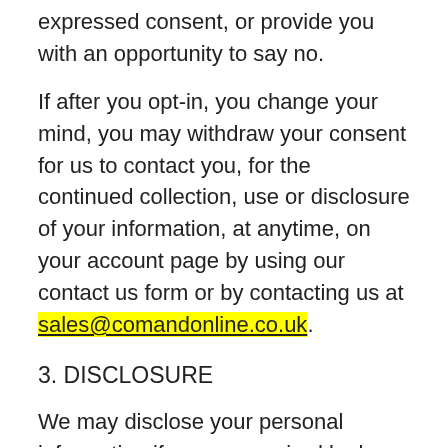expressed consent, or provide you with an opportunity to say no.
If after you opt-in, you change your mind, you may withdraw your consent for us to contact you, for the continued collection, use or disclosure of your information, at anytime, on your account page by using our contact us form or by contacting us at sales@comandonline.co.uk.
3. DISCLOSURE
We may disclose your personal information if we are required by law to do so or if you violate our Terms of Service.
4. PAYMENTS
We use a third party payment processor(s) to process payments made to us. In connection with the processing of such payments, we do not retain any personally